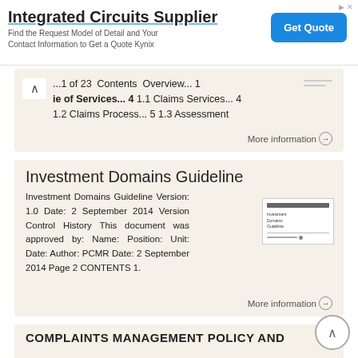[Figure (screenshot): Advertisement banner for Integrated Circuits Supplier with Get Quote button]
...1 of 23 Contents Overview... 1
ie of Services... 4 1.1 Claims Services... 4
1.2 Claims Process... 5 1.3 Assessment
More information →
Investment Domains Guideline
Investment Domains Guideline Version: 1.0 Date: 2 September 2014 Version Control History This document was approved by: Name: Position: Unit: Date: Author: PCMR Date: 2 September 2014 Page 2 CONTENTS 1.
More information →
COMPLAINTS MANAGEMENT POLICY AND